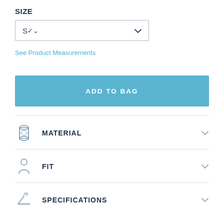SIZE
[Figure (screenshot): Dropdown select box showing 'S' with a chevron arrow on the right]
See Product Measurements
ADD TO BAG
MATERIAL
FIT
SPECIFICATIONS